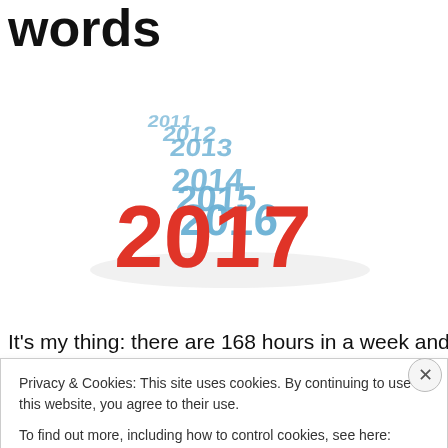words
[Figure (illustration): 3D graphic showing blue year numbers (2011, 2012, 2013, 2014, 2015, 2016) arranged in a descending perspective row, with large bold red '2017' in the foreground, representing the new year.]
It's my thing: there are 168 hours in a week and 168 words
Privacy & Cookies: This site uses cookies. By continuing to use this website, you agree to their use.
To find out more, including how to control cookies, see here: Cookie Policy
Close and accept